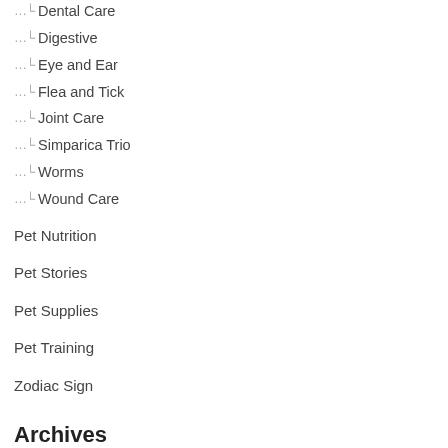Dental Care
Digestive
Eye and Ear
Flea and Tick
Joint Care
Simparica Trio
Worms
Wound Care
Pet Nutrition
Pet Stories
Pet Supplies
Pet Training
Zodiac Sign
Archives